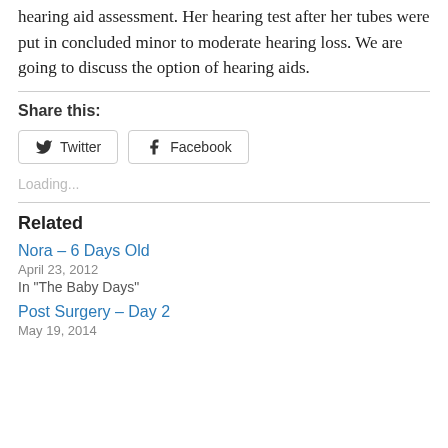hearing aid assessment. Her hearing test after her tubes were put in concluded minor to moderate hearing loss. We are going to discuss the option of hearing aids.
Share this:
[Figure (screenshot): Twitter and Facebook share buttons]
Loading...
Related
Nora – 6 Days Old
April 23, 2012
In "The Baby Days"
Post Surgery – Day 2
May 19, 2014